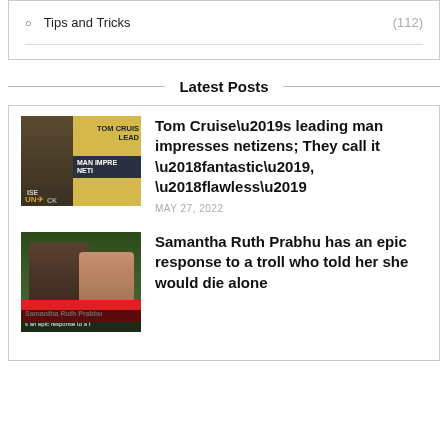Tips and Tricks (112)
Latest Posts
[Figure (photo): Thumbnail image for Tom Cruise Top Gun article]
Tom Cruise’s leading man impresses netizens; They call it ‘fantastic’, ‘flawless’
MAY 27, 2022
[Figure (photo): Thumbnail image for Samantha Ruth Prabhu article]
Samantha Ruth Prabhu has an epic response to a troll who told her she would die alone